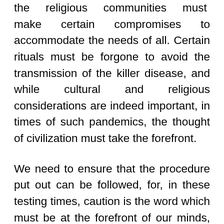the religious communities must make certain compromises to accommodate the needs of all. Certain rituals must be forgone to avoid the transmission of the killer disease, and while cultural and religious considerations are indeed important, in times of such pandemics, the thought of civilization must take the forefront.
We need to ensure that the procedure put out can be followed, for, in these testing times, caution is the word which must be at the forefront of our minds, for the future is highly uncertain and we need to act with